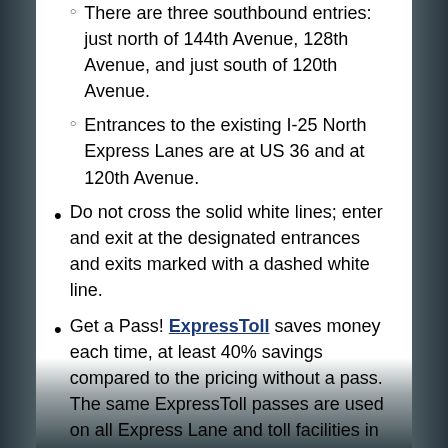There are three southbound entries: just north of 144th Avenue, 128th Avenue, and just south of 120th Avenue.
Entrances to the existing I-25 North Express Lanes are at US 36 and at 120th Avenue.
Do not cross the solid white lines; enter and exit at the designated entrances and exits marked with a dashed white line.
Get a Pass! ExpressToll saves money each time, at least 40% savings compared to the pricing without a pass. The same ExpressToll passes are used on all Express Lane and toll facilities in Colorado, including Express Lanes on US 36, I-25, I-70 Mountain, and E-470 and the